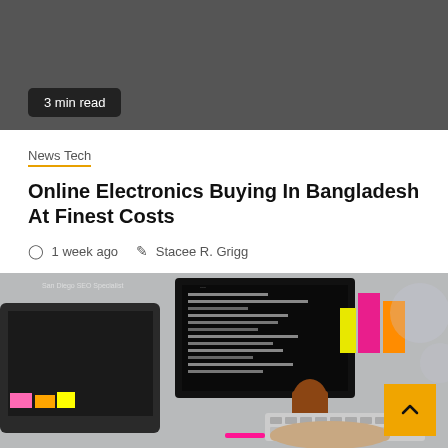[Figure (photo): Dark gray background hero image area]
3 min read
News Tech
Online Electronics Buying In Bangladesh At Finest Costs
1 week ago   Stacee R. Grigg
[Figure (photo): Office workspace photo showing a laptop with colorful sticky notes, a monitor with code on screen, a keyboard, and hands typing, with colorful paper cups in the background]